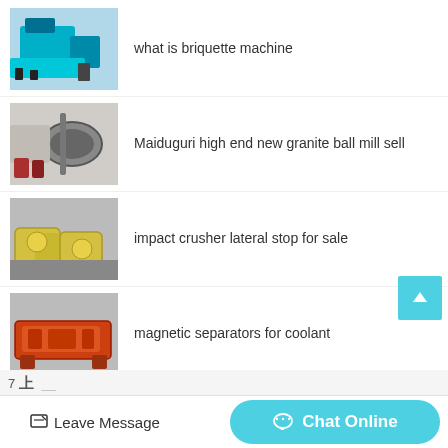what is briquette machine
Maiduguri high end new granite ball mill sell
impact crusher lateral stop for sale
magnetic separators for coolant
Leave Message  Chat Online